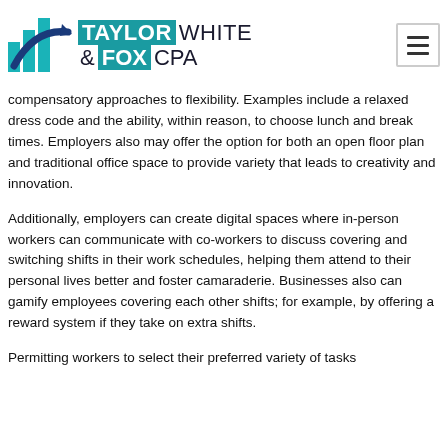Taylor White & Fox CPA logo and navigation
compensatory approaches to flexibility. Examples include a relaxed dress code and the ability, within reason, to choose lunch and break times. Employers also may offer the option for both an open floor plan and traditional office space to provide variety that leads to creativity and innovation.
Additionally, employers can create digital spaces where in-person workers can communicate with co-workers to discuss covering and switching shifts in their work schedules, helping them attend to their personal lives better and foster camaraderie. Businesses also can gamify employees covering each other shifts; for example, by offering a reward system if they take on extra shifts.
Permitting workers to select their preferred variety of tasks